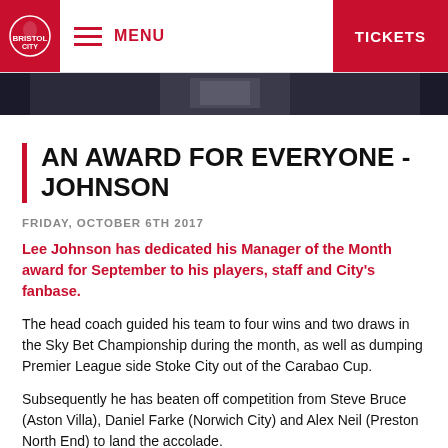MENU  TICKETS
[Figure (photo): Partial photo of a football player/person, dark background, cropped at top]
AN AWARD FOR EVERYONE - JOHNSON
FRIDAY, OCTOBER 6TH 2017
Lee Johnson has dedicated his Manager of the Month award for September to his players, staff and City's fanbase.
The head coach guided his team to four wins and two draws in the Sky Bet Championship during the month, as well as dumping Premier League side Stoke City out of the Carabao Cup.
Subsequently he has beaten off competition from Steve Bruce (Aston Villa), Daniel Farke (Norwich City) and Alex Neil (Preston North End) to land the accolade.